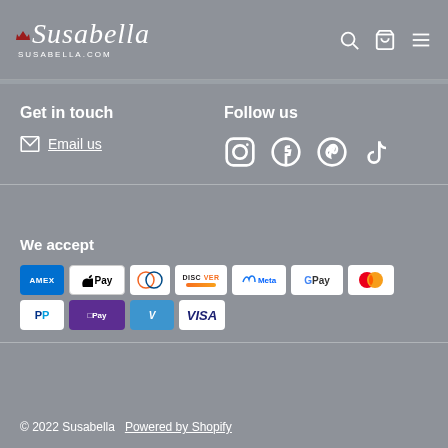Susabella — SUSABELLA.COM
Get in touch
Email us
Follow us
[Figure (illustration): Social media icons: Instagram, Facebook, Pinterest, TikTok]
We accept
[Figure (illustration): Payment method logos: American Express, Apple Pay, Diners Club, Discover, Meta Pay, Google Pay, Mastercard, PayPal, Shop Pay, Venmo, Visa]
© 2022 Susabella   Powered by Shopify